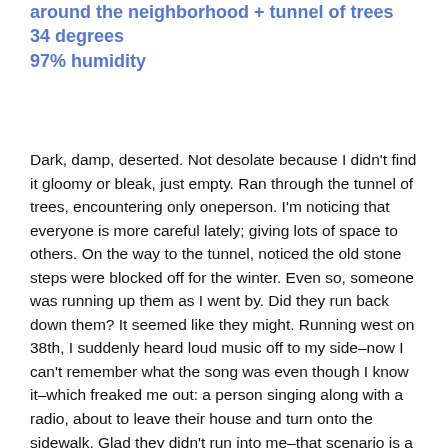around the neighborhood + tunnel of trees
34 degrees
97% humidity
Dark, damp, deserted. Not desolate because I didn't find it gloomy or bleak, just empty. Ran through the tunnel of trees, encountering only oneperson. I'm noticing that everyone is more careful lately; giving lots of space to others. On the way to the tunnel, noticed the old stone steps were blocked off for the winter. Even so, someone was running up them as I went by. Did they run back down them? It seemed like they might. Running west on 38th, I suddenly heard loud music off to my side–now I can't remember what the song was even though I know it–which freaked me out: a person singing along with a radio, about to leave their house and turn onto the sidewalk. Glad they didn't run into me–that scenario is a Covid nightmare for me.